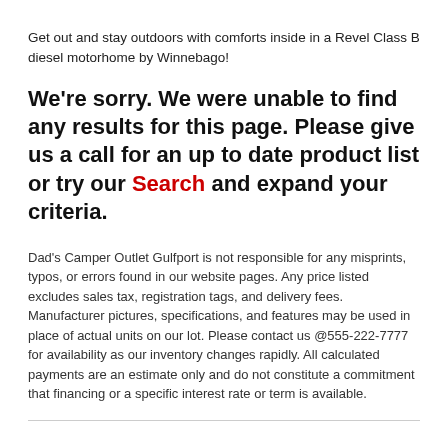Get out and stay outdoors with comforts inside in a Revel Class B diesel motorhome by Winnebago!
We're sorry. We were unable to find any results for this page. Please give us a call for an up to date product list or try our Search and expand your criteria.
Dad's Camper Outlet Gulfport is not responsible for any misprints, typos, or errors found in our website pages. Any price listed excludes sales tax, registration tags, and delivery fees. Manufacturer pictures, specifications, and features may be used in place of actual units on our lot. Please contact us @555-222-7777 for availability as our inventory changes rapidly. All calculated payments are an estimate only and do not constitute a commitment that financing or a specific interest rate or term is available.